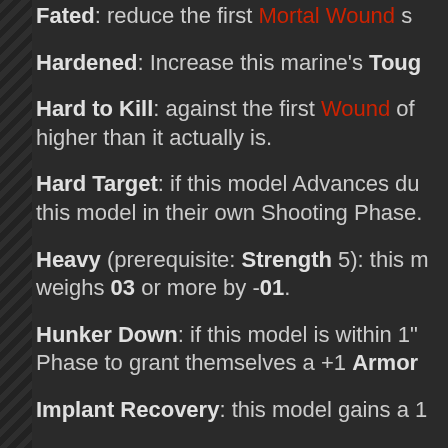Fated: reduce the first Mortal Wound s…
Hardened: Increase this marine's Toug…
Hard to Kill: against the first Wound of each Attack, treat this model's Wounds as 1 higher than it actually is.
Hard Target: if this model Advances du… this model in their own Shooting Phase.
Heavy (prerequisite: Strength 5): this m… weighs 03 or more by -01.
Hunker Down: if this model is within 1"… Phase to grant themselves a +1 Armor…
Implant Recovery: this model gains a 1…
Iron Jaw: whenever this model rolls on…